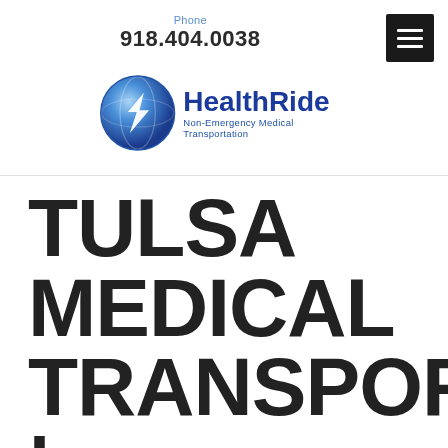Phone
918.404.0038
[Figure (logo): HealthRide Non-Emergency Medical Transportation logo — blue circular emblem with lightning bolt, followed by 'HealthRide' in blue and 'Non-Emergency Medical Transportation' in smaller blue text]
TULSA MEDICAL TRANSPORT | PROFESSION